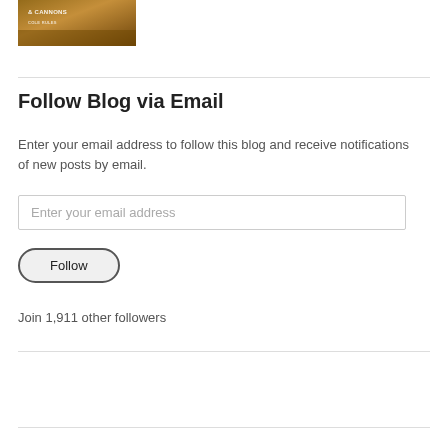[Figure (photo): Partial view of a book cover with reddish-brown tones, possibly a historical fiction book about cannons]
Follow Blog via Email
Enter your email address to follow this blog and receive notifications of new posts by email.
Enter your email address
Follow
Join 1,911 other followers